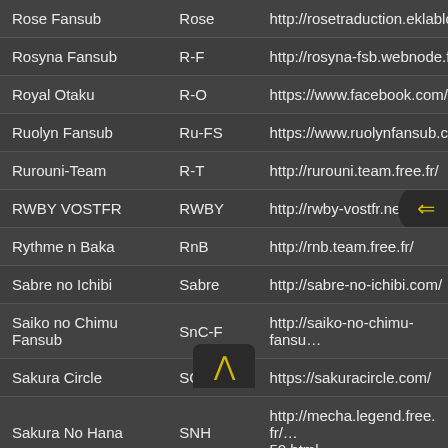| Name | Abbreviation | URL |
| --- | --- | --- |
| Rose Fansub | Rose | http://rosetraduction.eklablo… |
| Rosyna Fansub | R-F | http://rosyna-fsb.webnode.f… |
| Royal Otaku | R-O | https://www.facebook.com/… |
| Ruolyn Fansub | Ru-FS | https://www.ruolynfansub.co… |
| Rurouni-Team | R-T | http://rurouni.team.free.fr/ |
| RWBY VOSTFR | RWBY | http://rwby-vostfr.net/ |
| Rythme n Baka | RnB | http://rnb.team.free.fr/ |
| Sabre no Ichibi | Sabre | http://sabre-no-ichibi.com/ |
| Saiko no Chimu Fansub | SnC-F | http://saiko-no-chimu-fansu… |
| Sakura Circle | SC | https://sakuracircle.com/ |
| Sakura No Hana | SNH | http://mecha.legend.free.fr/…50.html |
| Sakura-Kiss | S-K | http://sakura-kiss.fansubs.c… |